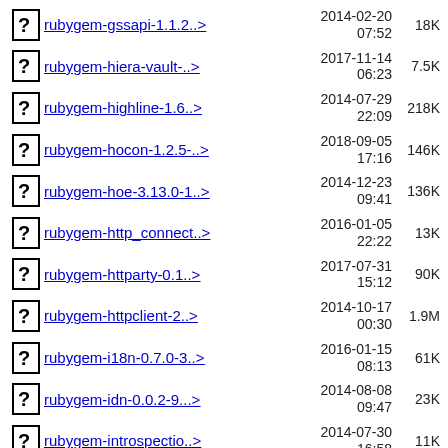rubygem-gssapi-1.1.2..> 2014-02-20 07:52 18K
rubygem-hiera-vault-..> 2017-11-14 06:23 7.5K
rubygem-highline-1.6..> 2014-07-29 22:09 218K
rubygem-hocon-1.2.5-..> 2018-09-05 17:16 146K
rubygem-hoe-3.13.0-1..> 2014-12-23 09:41 136K
rubygem-http_connect..> 2016-01-05 22:22 13K
rubygem-httparty-0.1..> 2017-07-31 15:12 90K
rubygem-httpclient-2..> 2014-10-17 00:30 1.9M
rubygem-i18n-0.7.0-3..> 2016-01-15 08:13 61K
rubygem-idn-0.0.2-9...> 2014-08-08 09:47 23K
rubygem-introspectio..> 2014-07-30 16:58 11K
rubygem-???..> 2017-03-08